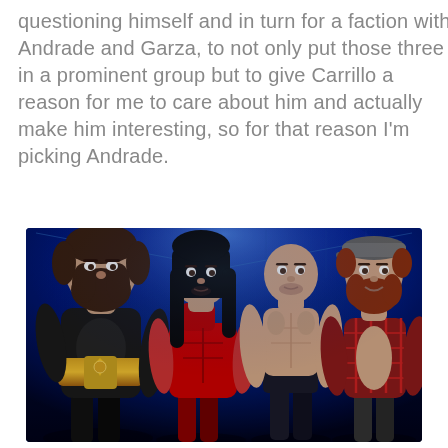questioning himself and in turn for a faction with Andrade and Garza, to not only put those three in a prominent group but to give Carrillo a reason for me to care about him and actually make him interesting, so for that reason I'm picking Andrade.
[Figure (photo): Promotional image of four WWE wrestlers standing side by side against a blue arena/stage background. From left to right: a large bearded man holding a championship belt (Braun Strowman), a man in red ring gear with long dark hair (Shinsuke Nakamura), a bald man in dark ring gear (Cesaro), and a man with red beard wearing a grey cap and open plaid shirt (Sami Zayn).]